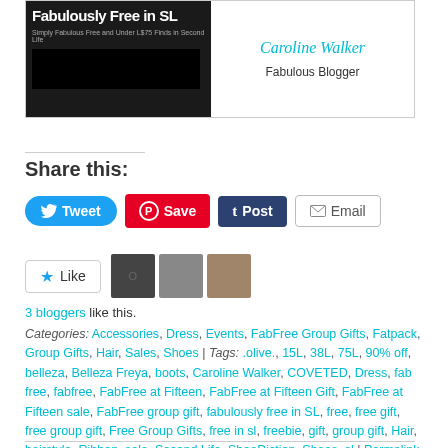[Figure (screenshot): Blog header image showing Fabulously Free in SL logo on left with dark background and 'Simply Fabulous Free and Under L$75 Finds in Second Life' text, and right side showing cursive text and 'Fabulous Blogger' label]
Share this:
Tweet | Save | Post | Email (social sharing buttons)
Like | 3 bloggers like this.
Categories: Accessories, Dress, Events, FabFree Group Gifts, Fatpack, Group Gifts, Hair, Sales, Shoes | Tags: .olive., 15L, 38L, 75L, 90% off, belleza, Belleza Freya, boots, Caroline Walker, COVETED, Dress, fab free, fabfree, FabFree at Fifteen, FabFree at Fifteen Gift, FabFree at Fifteen sale, FabFree group gift, fabulously free in SL, free, free gift, free group gift, Free Group Gifts, free in sl, freebie, gift, group gift, Hair, hairstyle, Ribbon, sale, Second Life, ShoeDiction, Shoes, sl | Permalink.